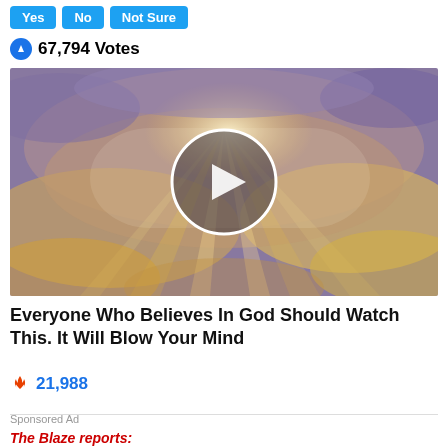Yes | No | Not Sure
67,794 Votes
[Figure (screenshot): Video thumbnail showing dramatic golden sunlight breaking through clouds, with a white circular play button overlay in the center.]
Everyone Who Believes In God Should Watch This. It Will Blow Your Mind
21,988
Sponsored Ad
The Blaze reports: